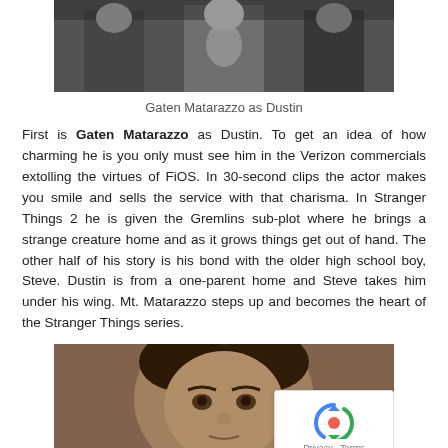[Figure (photo): Photo of child actor in Ghostbusters-style costume with others in background]
Gaten Matarazzo as Dustin
First is Gaten Matarazzo as Dustin. To get an idea of how charming he is you only must see him in the Verizon commercials extolling the virtues of FiOS. In 30-second clips the actor makes you smile and sells the service with that charisma. In Stranger Things 2 he is given the Gremlins sub-plot where he brings a strange creature home and as it grows things get out of hand. The other half of his story is his bond with the older high school boy, Steve. Dustin is from a one-parent home and Steve takes him under his wing. Mt. Matarazzo steps up and becomes the heart of the Stranger Things series.
[Figure (photo): Close-up photo of a young boy with curly dark hair looking at the camera]